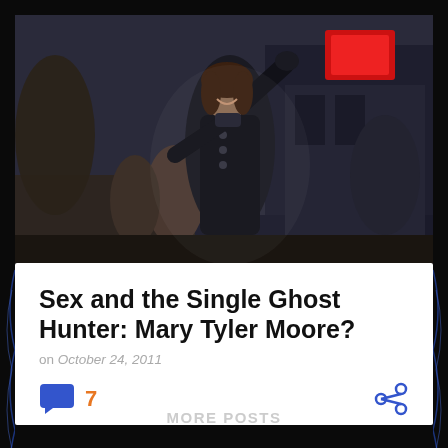[Figure (photo): A woman (resembling Mary Tyler Moore) in a dark coat with arms raised, smiling joyfully on a city street at night with other people visible in the background and a red illuminated sign above]
Sex and the Single Ghost Hunter: Mary Tyler Moore?
on October 24, 2011
7 comments, share
MORE POSTS